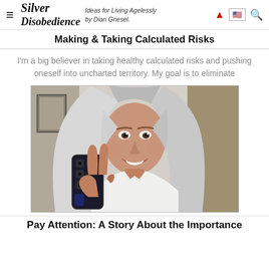Silver Disobedience — Ideas for Living Agelessly by Dian Griesel.
Making & Taking Calculated Risks
I'm a big believer in taking healthy calculated risks and pushing oneself into uncharted territory. My goal is to eliminate
[Figure (photo): Woman with long silver-gray hair smiling and holding a phone taking a selfie, wearing a white shirt, making a peace sign]
Pay Attention: A Story About the Importance